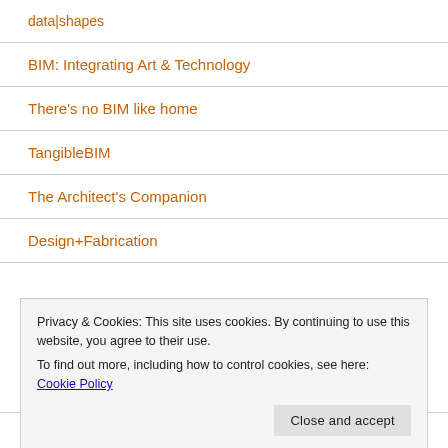data|shapes
BIM: Integrating Art & Technology
There's no BIM like home
TangibleBIM
The Architect's Companion
Design+Fabrication
Privacy & Cookies: This site uses cookies. By continuing to use this website, you agree to their use.
To find out more, including how to control cookies, see here: Cookie Policy
BIM Outsourcing